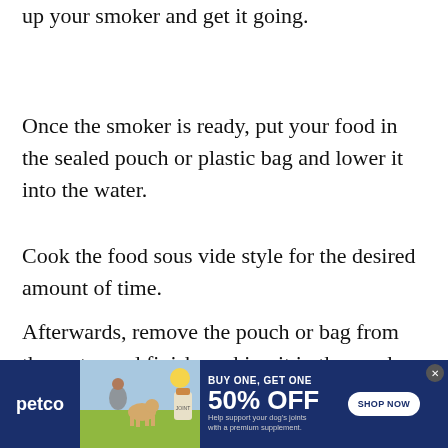up your smoker and get it going.
Once the smoker is ready, put your food in the sealed pouch or plastic bag and lower it into the water.
Cook the food sous vide style for the desired amount of time.
Afterwards, remove the pouch or bag from the water and finish cooking it in the smoker. This will give your food a nice smoky flavor with out
[Figure (infographic): Petco advertisement banner: BUY ONE, GET ONE 50% OFF on dog joint supplement. Features woman with Labrador dog, Petco logo, and SHOP NOW button.]